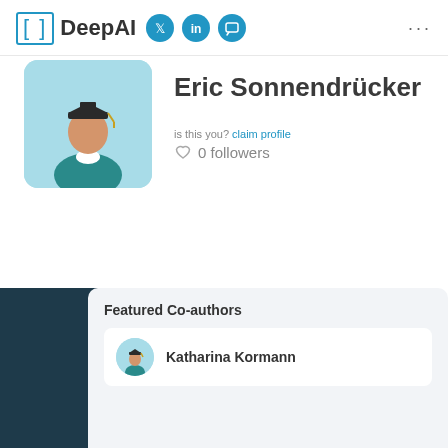DeepAI
Eric Sonnendrücker
is this you? claim profile
0 followers
Featured Co-authors
Katharina Kormann